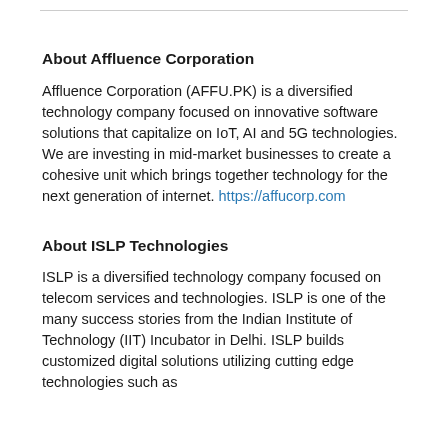About Affluence Corporation
Affluence Corporation (AFFU.PK) is a diversified technology company focused on innovative software solutions that capitalize on IoT, AI and 5G technologies. We are investing in mid-market businesses to create a cohesive unit which brings together technology for the next generation of internet. https://affucorp.com
About ISLP Technologies
ISLP is a diversified technology company focused on telecom services and technologies. ISLP is one of the many success stories from the Indian Institute of Technology (IIT) Incubator in Delhi. ISLP builds customized digital solutions utilizing cutting edge technologies such as